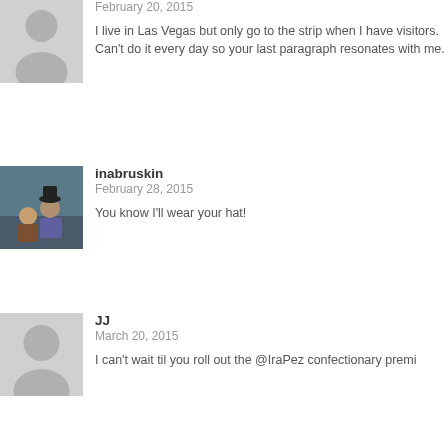February 20, 2015
I live in Las Vegas but only go to the strip when I have visitors. Can't do it every day so your last paragraph resonates with me.
inabruskin
February 28, 2015
You know I'll wear your hat!
JJ
March 20, 2015
I can't wait til you roll out the @IraPez confectionary premi…